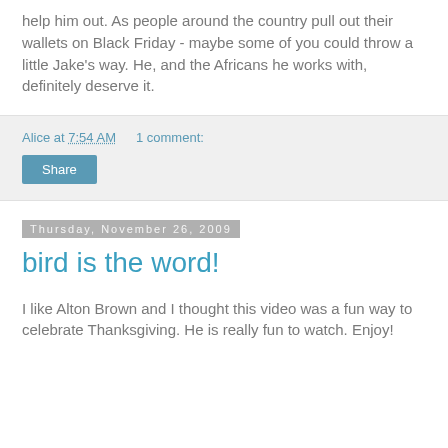help him out. As people around the country pull out their wallets on Black Friday - maybe some of you could throw a little Jake's way. He, and the Africans he works with, definitely deserve it.
Alice at 7:54 AM    1 comment:
Share
Thursday, November 26, 2009
bird is the word!
I like Alton Brown and I thought this video was a fun way to celebrate Thanksgiving. He is really fun to watch. Enjoy!